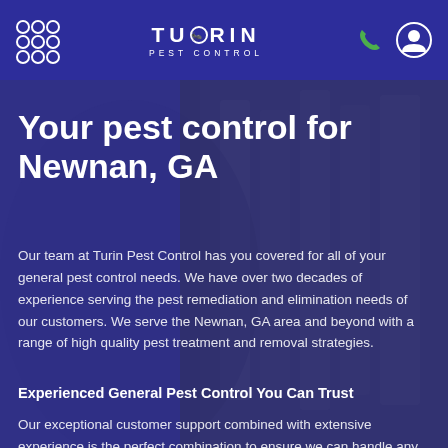TURIN PEST CONTROL
[Figure (screenshot): Background photo of pest control technician with blurred shelves, overlaid with dark blue/purple transparent layer]
Your pest control for Newnan, GA
Our team at Turin Pest Control has you covered for all of your general pest control needs. We have over two decades of experience serving the pest remediation and elimination needs of our customers. We serve the Newnan, GA area and beyond with a range of high quality pest treatment and removal strategies.
Experienced General Pest Control You Can Trust
Our exceptional customer support combined with extensive experience is the perfect combination to ensure we can handle any pest control problems, quickly and efficiently. We are a locally owned pest